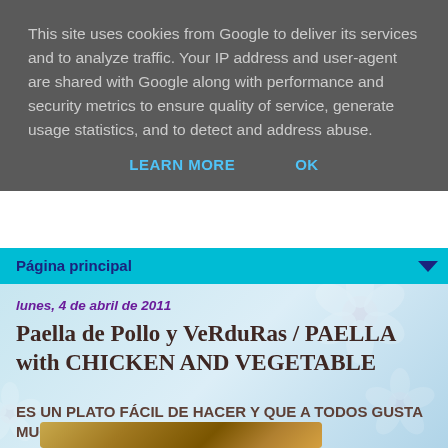This site uses cookies from Google to deliver its services and to analyze traffic. Your IP address and user-agent are shared with Google along with performance and security metrics to ensure quality of service, generate usage statistics, and to detect and address abuse.
LEARN MORE    OK
Página principal
lunes, 4 de abril de 2011
Paella de Pollo y VeRduRas / PAELLA with CHICKEN AND VEGETABLE
ES UN PLATO FÁCIL DE HACER Y QUE A TODOS GUSTA MUCHO.
[Figure (photo): Photo of paella with chicken and vegetables in a pan, partially visible at bottom of page]